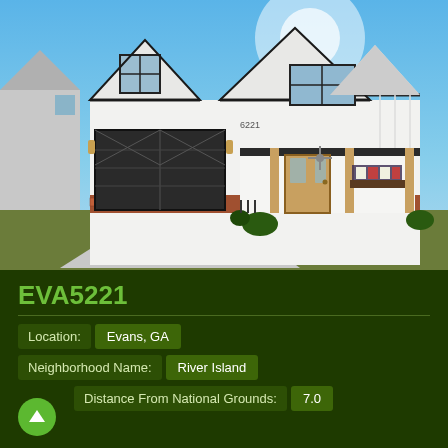[Figure (photo): Exterior photo of a two-story white farmhouse-style home with black garage door, brick accents, covered front porch with wood columns, and blue sky background. Located in Evans, GA.]
EVA5221
Location: Evans, GA
Neighborhood Name: River Island
Distance From National Grounds: 7.0